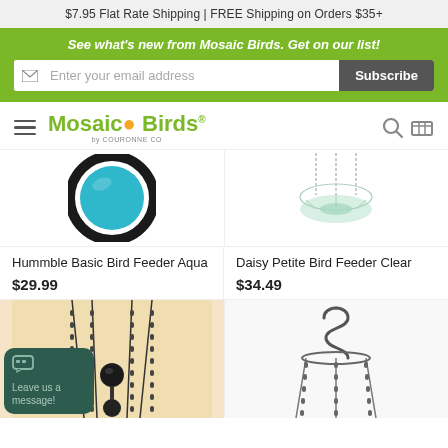$7.95 Flat Rate Shipping | FREE Shipping on Orders $35+
See what's new from Mosaic Birds. Get on our list!
Enter your email address  Subscribe
Mosaic Birds by COURONNE CO
[Figure (photo): Top portion of Hummble Basic Bird Feeder Aqua - circular black frame with aqua center]
[Figure (photo): Top portion of Daisy Petite Bird Feeder Clear - glass flower bowl feeder hanging]
Hummble Basic Bird Feeder Aqua
$29.99
Daisy Petite Bird Feeder Clear
$34.49
[Figure (photo): Bottom portion showing hanging chain bird feeder with dark metal finish on warm background]
[Figure (photo): S-hook and chain hanger hardware for bird feeder on white background]
Leave us a message!